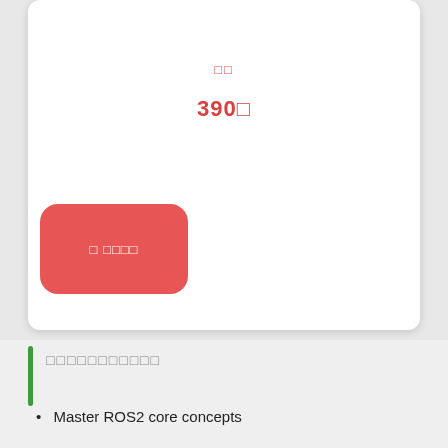□□
390□
[Figure (other): Red rounded rectangle button with white text label]
□□□□□□□□□□□
Master ROS2 core concepts